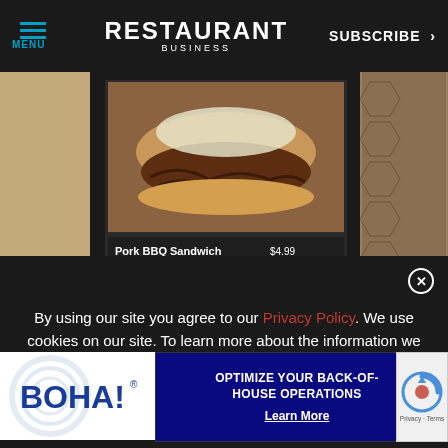MENU | RESTAURANT BUSINESS | SUBSCRIBE >
[Figure (photo): Food photo showing a Pork BBQ Sandwich on a digital display screen, with price $4.99]
PREMIUM
TECHNOLOGY
3 technol      ories from otl
[Figure (logo): BOHA! logo in blue text with circular design element]
[Figure (infographic): Advertisement overlay: OPTIMIZE YOUR BACK-OF-HOUSE OPERATIONS - Learn More, on dark blue background]
[Figure (other): reCAPTCHA widget partial view - Privacy Terms]
By using our site you agree to our Privacy Policy. We use cookies on our site. To learn more about the information we collect, how we use it and your choices, visit the cookies section of our Privacy Policy.